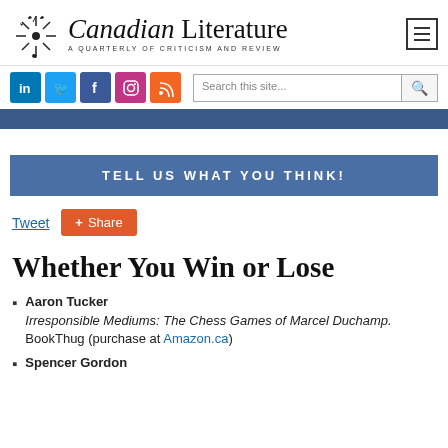[Figure (logo): Canadian Literature journal logo with decorative flower/firework icon, text 'Canadian Literature' and subtitle 'A QUARTERLY OF CRITICISM AND REVIEW']
[Figure (infographic): Social media icons row: LinkedIn, Twitter, Facebook, Instagram, RSS. Search box with 'Search this site...' placeholder and magnifying glass button.]
TELL US WHAT YOU THINK!
Tweet
Share
Whether You Win or Lose
Aaron Tucker
Irresponsible Mediums: The Chess Games of Marcel Duchamp. BookThug (purchase at Amazon.ca)
Spencer Gordon